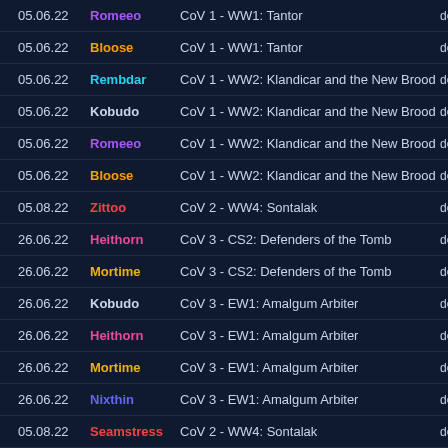| Date | User | Content | Action |
| --- | --- | --- | --- |
| 05.06.22 | Romeeo | CoV 1 - WW1: Tantor | de |
| 05.06.22 | Bloose | CoV 1 - WW1: Tantor | de |
| 05.06.22 | Rembdar | CoV 1 - WW2: Klandicar and the New Brood | de |
| 05.06.22 | Kobudo | CoV 1 - WW2: Klandicar and the New Brood | de |
| 05.06.22 | Romeeo | CoV 1 - WW2: Klandicar and the New Brood | de |
| 05.06.22 | Bloose | CoV 1 - WW2: Klandicar and the New Brood | de |
| 05.08.22 | Zittoo | CoV 2 - WW4: Sontalak | de |
| 26.06.22 | Heithorn | CoV 3 - CS2: Defenders of the Tomb | de |
| 26.06.22 | Mortime | CoV 3 - CS2: Defenders of the Tomb | de |
| 26.06.22 | Kobudo | CoV 3 - EW1: Amalgum Arbiter | de |
| 26.06.22 | Heithorn | CoV 3 - EW1: Amalgum Arbiter | de |
| 26.06.22 | Mortime | CoV 3 - EW1: Amalgum Arbiter | de |
| 26.06.22 | Nixthin | CoV 3 - EW1: Amalgum Arbiter | de |
| 05.08.22 | Seamstress | CoV 2 - WW4: Sontalak | de |